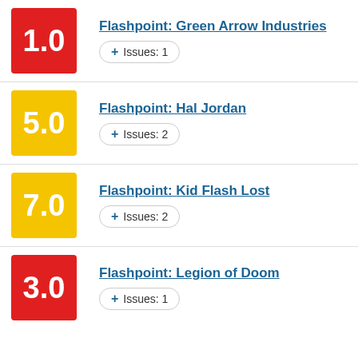1.0 Flashpoint: Green Arrow Industries + Issues: 1
5.0 Flashpoint: Hal Jordan + Issues: 2
7.0 Flashpoint: Kid Flash Lost + Issues: 2
3.0 Flashpoint: Legion of Doom + Issues: 1